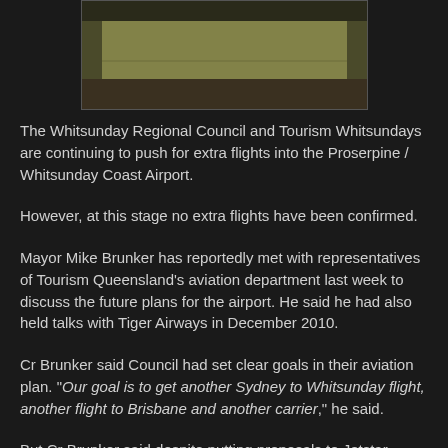[Figure (photo): Interior photo of what appears to be an airport or building corridor with yellow-green walls and dark flooring]
The Whitsunday Regional Council and Tourism Whitsundays are continuing to push for extra flights into the Proserpine / Whitsunday Coast Airport.
However, at this stage no extra flights have been confirmed.
Mayor Mike Brunker has reportedly met with representatives of Tourism Queensland's aviation department last week to discuss the future plans for the airport. He said he had also held talks with Tiger Airways in December 2010.
Cr Brunker said Council had set clear goals in their aviation plan. "Our goal is to get another Sydney to Whitsunday flight, another flight to Brisbane and another carrier," he said.
But Cr Brunker said despite putting proposals to Jetstar, Virgin Blue and Tiger Airways, they were restricted in moving forward too rapidly until the current construction work at the